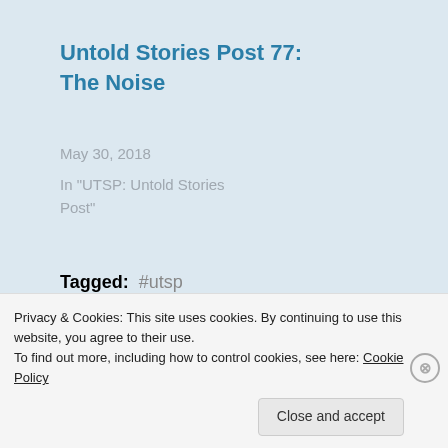Untold Stories Post 77: The Noise
May 30, 2018
In "UTSP: Untold Stories Post"
Tagged: #utsp
Published by Tanish Donare
Privacy & Cookies: This site uses cookies. By continuing to use this website, you agree to their use.
To find out more, including how to control cookies, see here: Cookie Policy
Close and accept